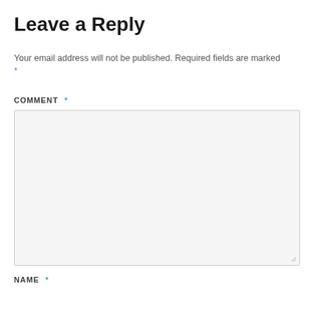Leave a Reply
Your email address will not be published. Required fields are marked *
COMMENT *
[Figure (other): Empty comment textarea input box with light grey background and resize handle in bottom right corner]
NAME *